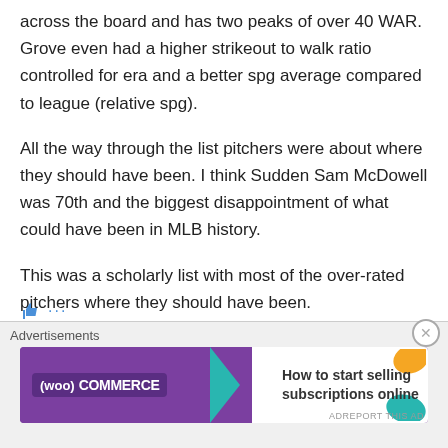across the board and has two peaks of over 40 WAR. Grove even had a higher strikeout to walk ratio controlled for era and a better spg average compared to league (relative spg).
All the way through the list pitchers were about where they should have been. I think Sudden Sam McDowell was 70th and the biggest disappointment of what could have been in MLB history.
This was a scholarly list with most of the over-rated pitchers where they should have been.
[Figure (other): WooCommerce advertisement banner: purple background with WooCommerce logo and teal arrow, white right side with text 'How to start selling subscriptions online', orange and blue decorative shapes in corner]
Advertisements